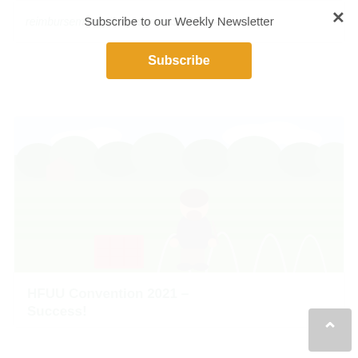Subscribe to our Weekly Newsletter
Subscribe
reimbursement pilot program SB3191 –...
[Figure (photo): Man crouching in a farm field with green plants and a red crate, metal hoops in the background, trees in distance]
HFUU Convention 2021 – Success!